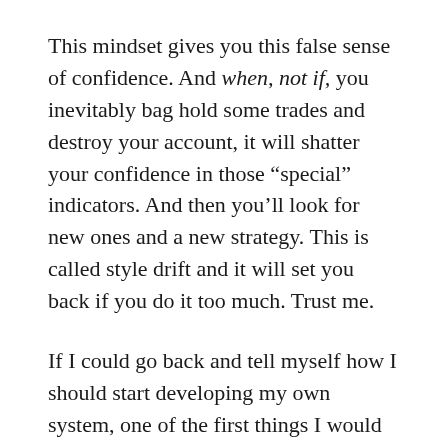This mindset gives you this false sense of confidence. And when, not if, you inevitably bag hold some trades and destroy your account, it will shatter your confidence in those “special” indicators. And then you’ll look for new ones and a new strategy. This is called style drift and it will set you back if you do it too much. Trust me.
If I could go back and tell myself how I should start developing my own system, one of the first things I would say is find a good trend indicator. You might think you can look at candlesticks and tell a trend easily... And you know what? Yes, you could. It’s pretty clear if the trend is up, down, flat